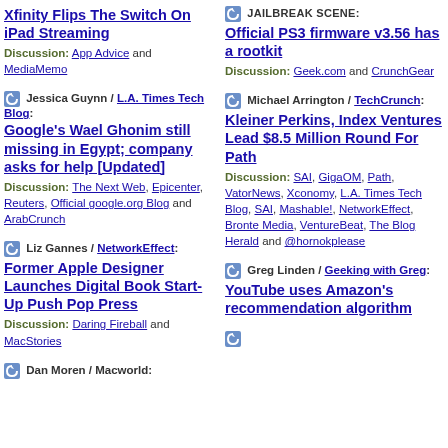Xfinity Flips The Switch On iPad Streaming
Discussion: App Advice and MediaMemo
JAILBREAK SCENE: Official PS3 firmware v3.56 has a rootkit
Discussion: Geek.com and CrunchGear
Jessica Guynn / L.A. Times Tech Blog: Google's Wael Ghonim still missing in Egypt; company asks for help [Updated]
Discussion: The Next Web, Epicenter, Reuters, Official google.org Blog and ArabCrunch
Michael Arrington / TechCrunch: Kleiner Perkins, Index Ventures Lead $8.5 Million Round For Path
Discussion: SAI, GigaOM, Path, VatorNews, Xconomy, L.A. Times Tech Blog, SAI, Mashable!, NetworkEffect, Bronte Media, VentureBeat, The Blog Herald and @hornokplease
Liz Gannes / NetworkEffect: Former Apple Designer Launches Digital Book Start-Up Push Pop Press
Discussion: Daring Fireball and MacStories
Greg Linden / Geeking with Greg: YouTube uses Amazon's recommendation algorithm
Dan Moren / Macworld: